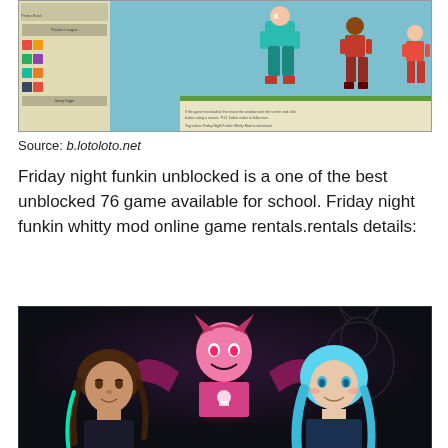[Figure (screenshot): Screenshot of a Friday Night Funkin unblocked game webpage showing game characters and a sidebar with game thumbnails]
Source: b.lotoloto.net
Friday night funkin unblocked is a one of the best unblocked 76 game available for school. Friday night funkin whitty mod online game rentals.rentals details:
[Figure (illustration): Illustration of Friday Night Funkin characters including a pink demon character, a brown-haired character, and a blue-haired character on a dark background]